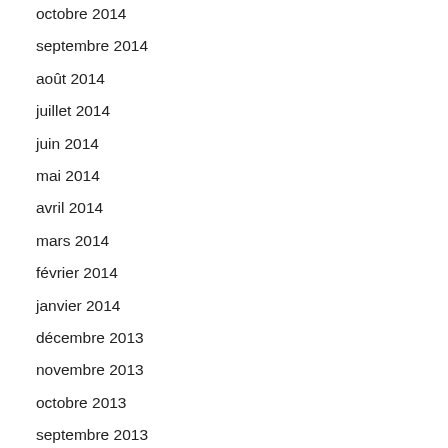octobre 2014
septembre 2014
août 2014
juillet 2014
juin 2014
mai 2014
avril 2014
mars 2014
février 2014
janvier 2014
décembre 2013
novembre 2013
octobre 2013
septembre 2013